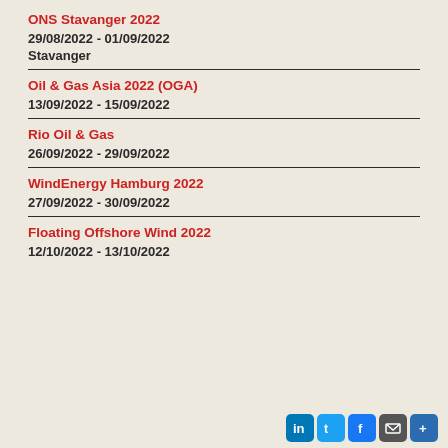ONS Stavanger 2022
29/08/2022 - 01/09/2022
Stavanger
Oil & Gas Asia 2022 (OGA)
13/09/2022 - 15/09/2022
Rio Oil & Gas
26/09/2022 - 29/09/2022
WindEnergy Hamburg 2022
27/09/2022 - 30/09/2022
Floating Offshore Wind 2022
12/10/2022 - 13/10/2022